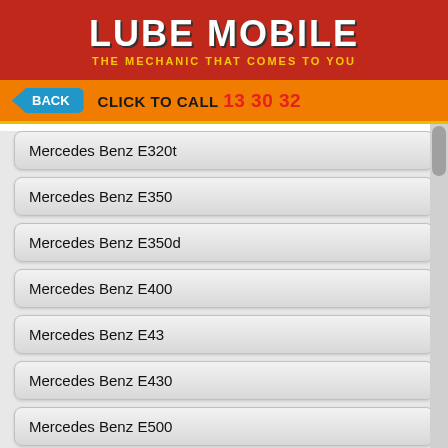[Figure (logo): Lube Mobile logo — white bold text on red background with yellow tagline 'THE MECHANIC THAT COMES TO YOU']
BACK   CLICK TO CALL 13 30 32
Mercedes Benz E320t
Mercedes Benz E350
Mercedes Benz E350d
Mercedes Benz E400
Mercedes Benz E43
Mercedes Benz E430
Mercedes Benz E500
Mercedes Benz E53
Mercedes Benz E55